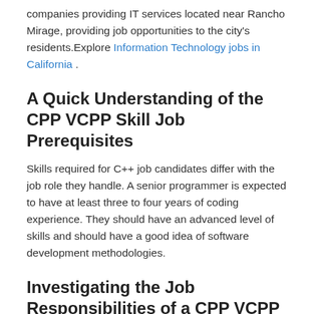companies providing IT services located near Rancho Mirage, providing job opportunities to the city's residents.Explore Information Technology jobs in California .
A Quick Understanding of the CPP VCPP Skill Job Prerequisites
Skills required for C++ job candidates differ with the job role they handle. A senior programmer is expected to have at least three to four years of coding experience. They should have an advanced level of skills and should have a good idea of software development methodologies.
Investigating the Job Responsibilities of a CPP VCPP Candidate
C++ programmers first analyze the business and development needs, as suggested by the clients. They then utilize C++ programming language to develop the application or software, while considering the requirements.